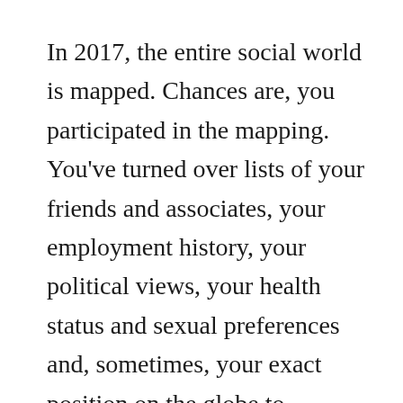In 2017, the entire social world is mapped. Chances are, you participated in the mapping. You've turned over lists of your friends and associates, your employment history, your political views, your health status and sexual preferences and, sometimes, your exact position on the globe to corporate social-networking sites. You may have done that for good reasons: you might have wanted to reconnect with old buddies, or share pictures of your newborn baby with your family, or